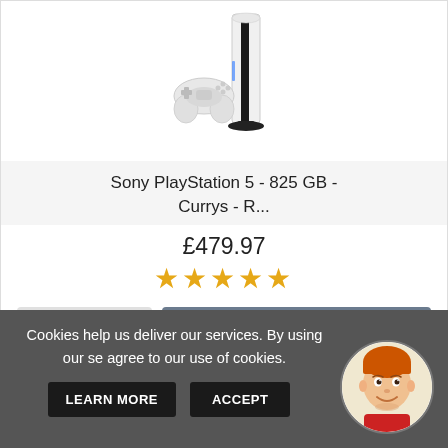[Figure (photo): Sony PlayStation 5 console with white disc drive edition and DualSense controller, shown on white background]
Sony PlayStation 5 - 825 GB - Currys - R...
£479.97
★★★★★
ⓘ VIEW
🛒 BUY ON EBAY
Cookies help us deliver our services. By using our se agree to our use of cookies.
LEARN MORE
ACCEPT